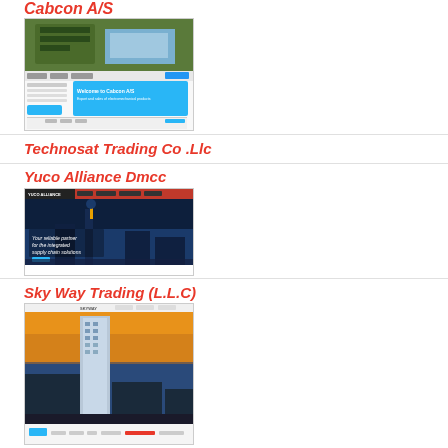Cabcon A/S
[Figure (screenshot): Screenshot of Cabcon A/S website showing a green circuit board aerial photo and a blue welcome page with text 'Welcome to Cabcon A/S Export and sales of electromechanical products']
Technosat Trading Co .Llc
Yuco Alliance Dmcc
[Figure (screenshot): Screenshot of Yuco Alliance Dmcc website showing a nighttime city/tower photo with text 'Your reliable partner for the integrated supply chain solutions']
Sky Way Trading (L.L.C)
[Figure (screenshot): Screenshot of Sky Way Trading website showing a tall modern building at dusk with navigation bar and footer with icons]